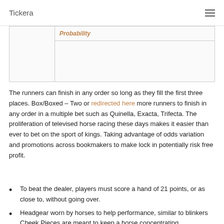Tickera
|  | Probability |
| --- | --- |
|  |  |
|  |  |
The runners can finish in any order so long as they fill the first three places. Box/Boxed – Two or redirected here more runners to finish in any order in a multiple bet such as Quinella, Exacta, Trifecta. The proliferation of televised horse racing these days makes it easier than ever to bet on the sport of kings. Taking advantage of odds variation and promotions across bookmakers to make lock in potentially risk free profit.
To beat the dealer, players must score a hand of 21 points, or as close to, without going over.
Headgear worn by horses to help performance, similar to blinkers Cheek Pieces are meant to keep a horse concentrating